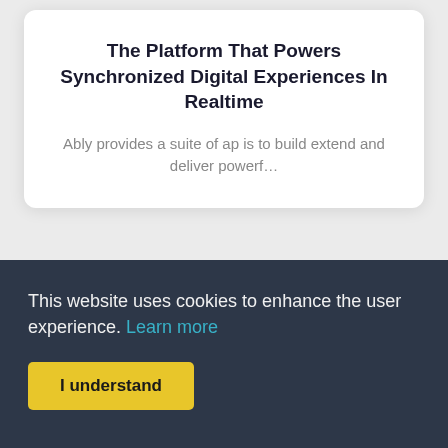The Platform That Powers Synchronized Digital Experiences In Realtime
Ably provides a suite of ap is to build extend and deliver powerf…
Abstract: Automate Anything With Abstract APIs
Abstract provides powerful ap is
This website uses cookies to enhance the user experience. Learn more
I understand